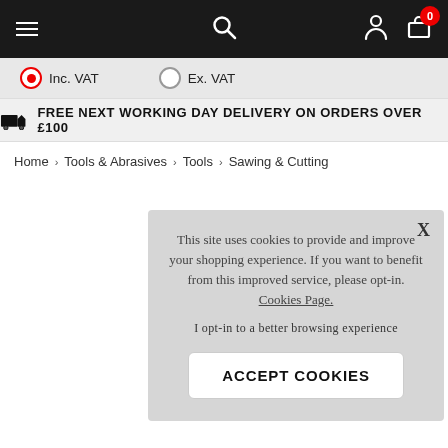Navigation bar with hamburger menu, search icon, user icon, cart icon with badge 0
Inc. VAT  Ex. VAT
FREE NEXT WORKING DAY DELIVERY ON ORDERS OVER £100
Home › Tools & Abrasives › Tools › Sawing & Cutting
This site uses cookies to provide and improve your shopping experience. If you want to benefit from this improved service, please opt-in. Cookies Page.
I opt-in to a better browsing experience
ACCEPT COOKIES